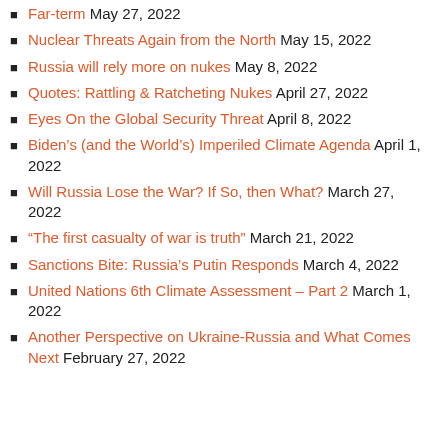Far-term May 27, 2022
Nuclear Threats Again from the North May 15, 2022
Russia will rely more on nukes May 8, 2022
Quotes: Rattling & Ratcheting Nukes April 27, 2022
Eyes On the Global Security Threat April 8, 2022
Biden's (and the World's) Imperiled Climate Agenda April 1, 2022
Will Russia Lose the War? If So, then What? March 27, 2022
“The first casualty of war is truth” March 21, 2022
Sanctions Bite: Russia’s Putin Responds March 4, 2022
United Nations 6th Climate Assessment – Part 2 March 1, 2022
Another Perspective on Ukraine-Russia and What Comes Next February 27, 2022